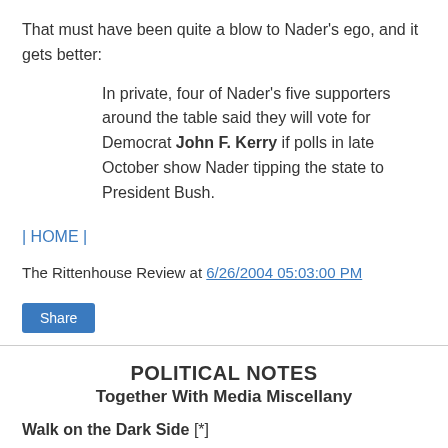That must have been quite a blow to Nader's ego, and it gets better:
In private, four of Nader's five supporters around the table said they will vote for Democrat John F. Kerry if polls in late October show Nader tipping the state to President Bush.
| HOME |
The Rittenhouse Review at 6/26/2004 05:03:00 PM
Share
POLITICAL NOTES
Together With Media Miscellany
Walk on the Dark Side [*]
According to various media reports, including a brief item in today's New York Times, Sen. Zell Miller (D-Ga.) has been